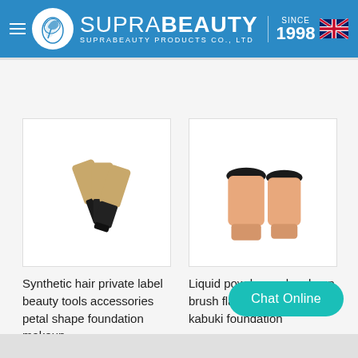SupraBeauty | Since 1998 — SUPRABEAUTY PRODUCTS CO., LTD
[Figure (photo): Petal shape foundation makeup brushes with black and golden synthetic hair, product photo on white background]
Synthetic hair private label beauty tools accessories petal shape foundation makeup
[Figure (photo): Rose gold flat oval kabuki makeup brushes, two brushes shown side by side, product photo on white background]
Liquid powder oval makeup brush flat private label kabuki foundation
Chat Online